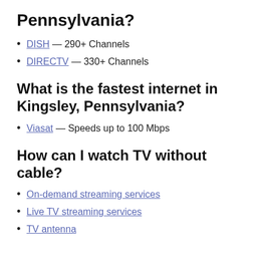Pennsylvania?
DISH — 290+ Channels
DIRECTV — 330+ Channels
What is the fastest internet in Kingsley, Pennsylvania?
Viasat — Speeds up to 100 Mbps
How can I watch TV without cable?
On-demand streaming services
Live TV streaming services
TV antenna